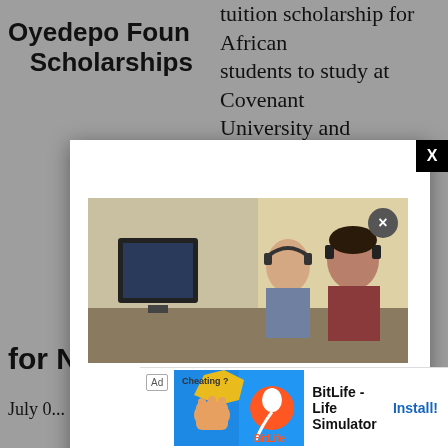Oyedepo Foundation Scholarships
tuition scholarship for African students to study at Covenant University and Landmark...
[Figure (photo): Two people working at computers with headphones in an office setting, shown inside a modal popup with a close (X) button]
for Nigerian...
July ...
Ad BitLife - Life Simulator Install!